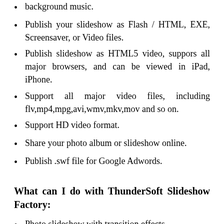background music.
Publish your slideshow as Flash / HTML, EXE, Screensaver, or Video files.
Publish slideshow as HTML5 video, suppors all major browsers, and can be viewed in iPad, iPhone.
Support all major video files, including flv,mp4,mpg,avi,wmv,mkv,mov and so on.
Support HD video format.
Share your photo album or slideshow online.
Publish .swf file for Google Adwords.
What can I do with ThunderSoft Slideshow Factory:
Photo slideshow with transition effects.